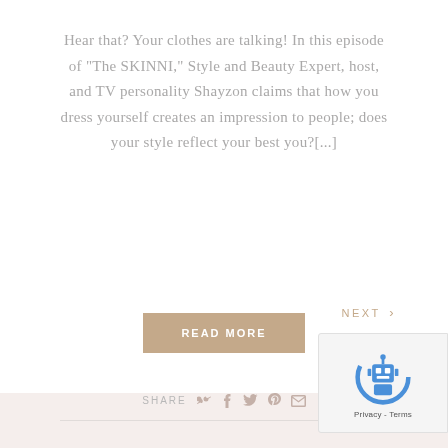Hear that? Your clothes are talking! In this episode of 'The SKINNI,' Style and Beauty Expert, host, and TV personality Shayzon claims that how you dress yourself creates an impression to people; does your style reflect your best you?[...]
READ MORE
SHARE
NEXT ›
[Figure (other): Google reCAPTCHA badge with robot icon and Privacy - Terms text]